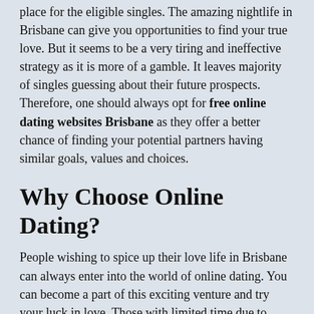place for the eligible singles. The amazing nightlife in Brisbane can give you opportunities to find your true love. But it seems to be a very tiring and ineffective strategy as it is more of a gamble. It leaves majority of singles guessing about their future prospects. Therefore, one should always opt for free online dating websites Brisbane as they offer a better chance of finding your potential partners having similar goals, values and choices.
Why Choose Online Dating?
People wishing to spice up their love life in Brisbane can always enter into the world of online dating. You can become a part of this exciting venture and try your luck in love. Those with limited time due to family commitments, work pressure or peer get together find the free dating websites Brisbane as a very good option to meet the right person that fits their personality traits.
You can meet several different folks there and know them better through chatting before going for an actual date